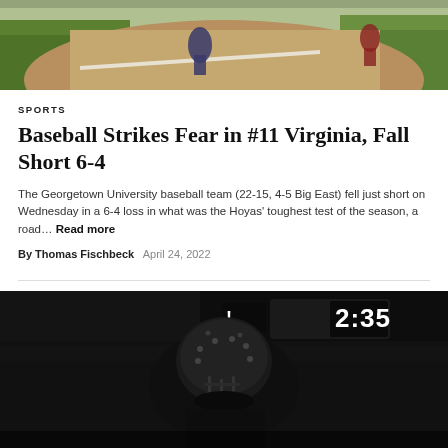[Figure (photo): Baseball game photo showing players on a dirt infield with green grass on the sides, action shot near a baseline]
SPORTS
Baseball Strikes Fear in #11 Virginia, Fall Short 6-4
The Georgetown University baseball team (22-15, 4-5 Big East) fell just short on Wednesday in a 6-4 loss in what was the Hoyas' toughest test of the season, a road… Read more
By Thomas Fischbeck   April 24, 2022
[Figure (photo): Black and white photo of a football player wearing a decorated helmet with stars, standing in front of a stadium scoreboard showing 2:35]